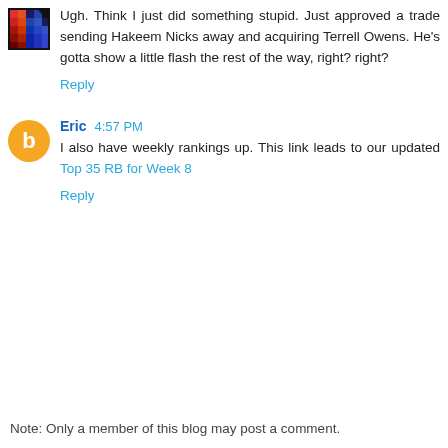Ugh. Think I just did something stupid. Just approved a trade sending Hakeem Nicks away and acquiring Terrell Owens. He's gotta show a little flash the rest of the way, right? right?
Reply
Eric 4:57 PM
I also have weekly rankings up. This link leads to our updated Top 35 RB for Week 8
Reply
Note: Only a member of this blog may post a comment.